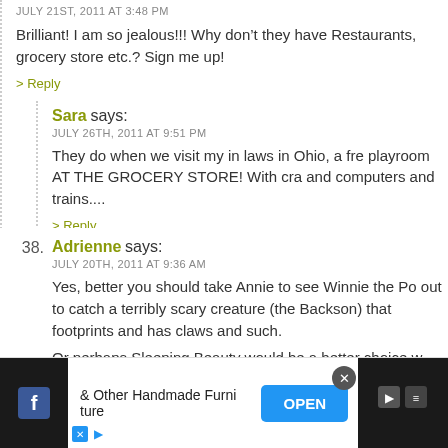Brilliant! I am so jealous!!! Why don't they have Restaurants, grocery store etc.? Sign me up!
> Reply
Sara says:
JULY 26TH, 2011 AT 9:51 PM
They do when we visit my in laws in Ohio, a free playroom AT THE GROCERY STORE! With cra and computers and trains....
> Reply
38. Adrienne says:
JULY 20TH, 2011 AT 9:36 AM
Yes, better you should take Annie to see Winnie the Po out to catch a terribly scary creature (the Backson) that footprints and has claws and such.
Or perhaps Sleeping Beauty would be a better choice w
[Figure (screenshot): Advertisement bar at bottom: Facebook icon on dark background, text '& Other Handmade Furniture', blue OPEN button, close X button, dark panel on right with icons, ad markers (X and triangle) at bottom left]